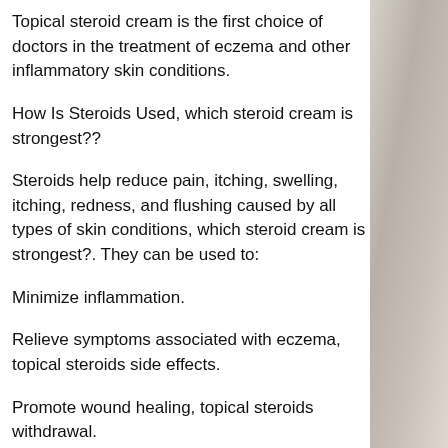Topical steroid cream is the first choice of doctors in the treatment of eczema and other inflammatory skin conditions.
How Is Steroids Used, which steroid cream is strongest??
Steroids help reduce pain, itching, swelling, itching, redness, and flushing caused by all types of skin conditions, which steroid cream is strongest?. They can be used to:
Minimize inflammation.
Relieve symptoms associated with eczema, topical steroids side effects.
Promote wound healing, topical steroids withdrawal.
Promote scar reduction.